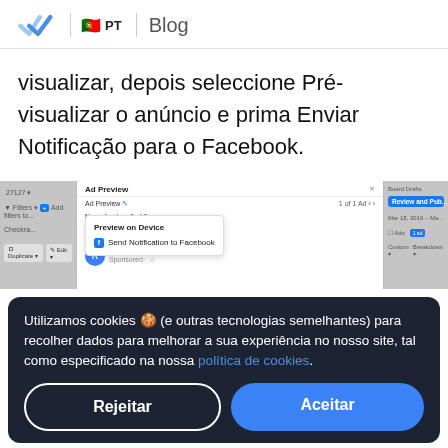PT | Blog
visualizar, depois seleccione Pré-visualizar o anúncio e prima Enviar Notificação para o Facebook.
[Figure (screenshot): Screenshot of Facebook Ads Manager showing Ad Preview dialog with 'Preview on Device' and 'Send Notification to Facebook' menu options, and Rocketbots sponsored post preview.]
Utilizamos cookies 🍪 (e outras tecnologias semelhantes) para recolher dados para melhorar a sua experiência no nosso site, tal como especificado na nossa política de cookies.
Rejeitar | Aceitar